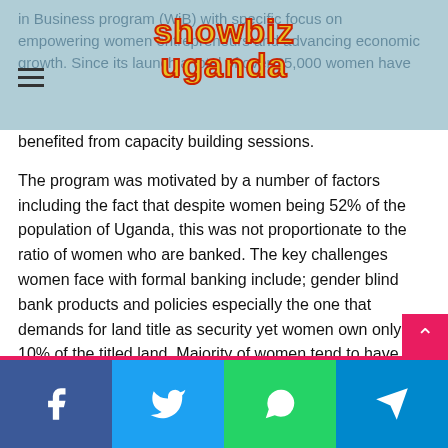Showbiz Uganda logo and navigation header
in Business program (WiB) with specific focus on empowering women entrepreneurs and advancing economic growth. Since its launch a total of over 35,000 women have benefited from capacity building sessions.
The program was motivated by a number of factors including the fact that despite women being 52% of the population of Uganda, this was not proportionate to the ratio of women who are banked. The key challenges women face with formal banking include; gender blind bank products and policies especially the one that demands for land title as security yet women own only 10% of the titled land. Majority of women tend to have low financial literacy levels and therefore have challenges documenting their business, articulating their plans and projections which are very key in assessing bank credit. The dfcu WiB program has its own advisory council dedicated
Share buttons: Facebook, Twitter, WhatsApp, Telegram